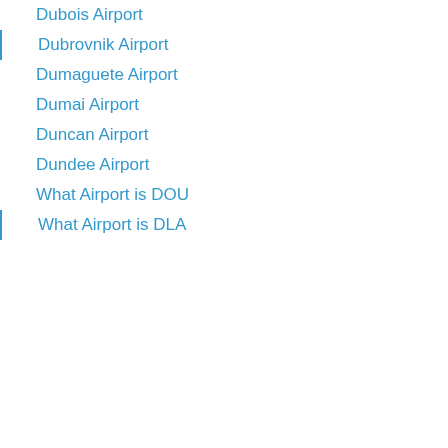Dubois Airport
Dubrovnik Airport
Dumaguete Airport
Dumai Airport
Duncan Airport
Dundee Airport
What Airport is DOU
What Airport is DLA